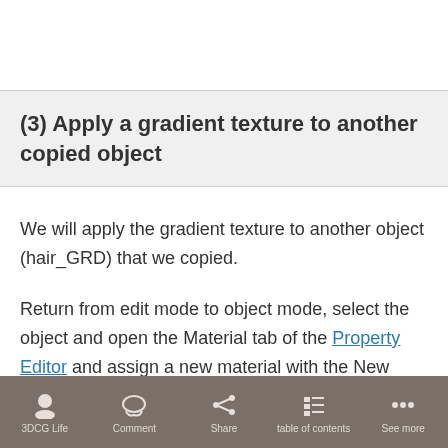(3) Apply a gradient texture to another copied object
We will apply the gradient texture to another object (hair_GRD) that we copied.
Return from edit mode to object mode, select the object and open the Material tab of the Property Editor and assign a new material with the New button.
3DCG Life   Comment   Share   table of contents   See more